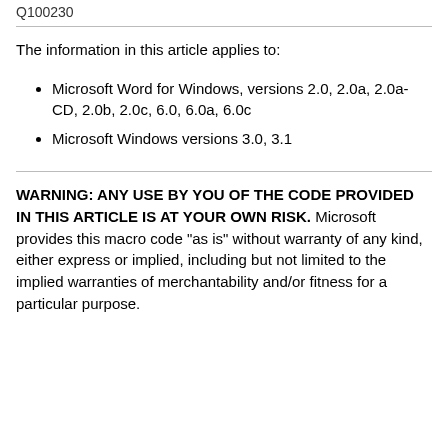Q100230
The information in this article applies to:
Microsoft Word for Windows, versions 2.0, 2.0a, 2.0a-CD, 2.0b, 2.0c, 6.0, 6.0a, 6.0c
Microsoft Windows versions 3.0, 3.1
WARNING: ANY USE BY YOU OF THE CODE PROVIDED IN THIS ARTICLE IS AT YOUR OWN RISK. Microsoft provides this macro code "as is" without warranty of any kind, either express or implied, including but not limited to the implied warranties of merchantability and/or fitness for a particular purpose.